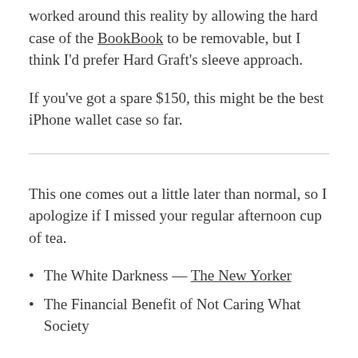worked around this reality by allowing the hard case of the BookBook to be removable, but I think I'd prefer Hard Graft's sleeve approach.
If you've got a spare $150, this might be the best iPhone wallet case so far.
This one comes out a little later than normal, so I apologize if I missed your regular afternoon cup of tea.
The White Darkness — The New Yorker
The Financial Benefit of Not Caring What Society